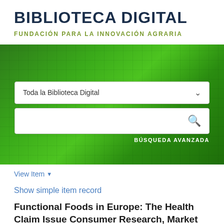BIBLIOTECA DIGITAL
FUNDACIÓN PARA LA INNOVACIÓN AGRARIA
[Figure (screenshot): Green banner background with pixelated/mosaic pattern, containing a dropdown selector labeled 'Toda la Biblioteca Digital', a search input box with a search icon, and a 'BÚSQUEDA AVANZADA' (Advanced Search) link.]
View Item ▾
Show simple item record
Functional Foods in Europe: The Health Claim Issue Consumer Research, Market